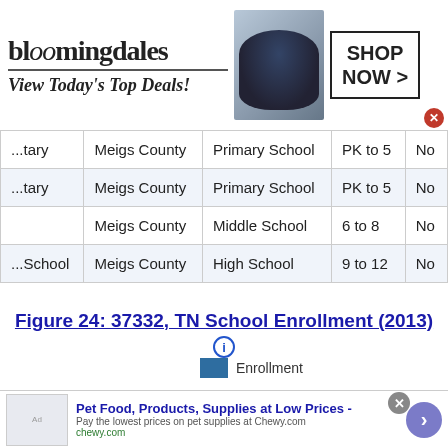[Figure (other): Bloomingdales advertisement banner with logo, model in hat, and SHOP NOW button]
| School Name | County | School Type | Grades | Charter |
| --- | --- | --- | --- | --- |
| ...tary | Meigs County | Primary School | PK to 5 | No |
| ...tary | Meigs County | Primary School | PK to 5 | No |
|  | Meigs County | Middle School | 6 to 8 | No |
| ...School | Meigs County | High School | 9 to 12 | No |
Figure 24: 37332, TN School Enrollment (2013)
[Figure (bar-chart): Bar chart showing Enrollment legend swatch in teal/blue]
[Figure (other): Chewy.com pet food advertisement banner]